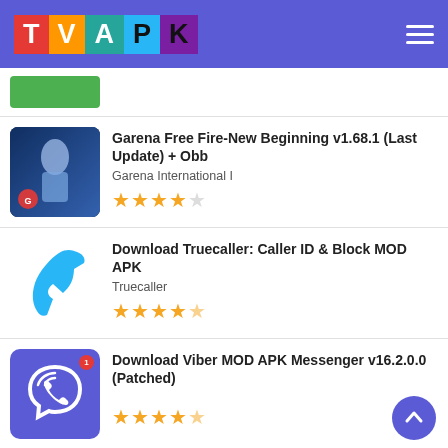TVAPK
[Figure (screenshot): Partial green button/bar from previous list item]
Garena Free Fire-New Beginning v1.68.1 (Last Update) + Obb — Garena International I — 4 stars out of 5
Download Truecaller: Caller ID & Block MOD APK — Truecaller — 4.5 stars out of 5
Download Viber MOD APK Messenger v16.2.0.0 (Patched) — 4.5 stars out of 5
Inshot Pro Mod Apk Download For Android — InShot Video Editor — 5 stars out of 5